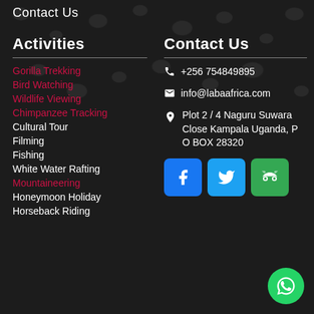Contact Us
Activities
Gorilla Trekking
Bird Watching
Wildlife Viewing
Chimpanzee Tracking
Cultural Tour
Filming
Fishing
White Water Rafting
Mountaineering
Honeymoon Holiday
Horseback Riding
Contact Us
+256 754849895
info@labaafrica.com
Plot 2 / 4 Naguru Suwara Close Kampala Uganda, P O BOX 28320
[Figure (infographic): Social media icons: Facebook (blue), Twitter (light blue), TripAdvisor (green), and a WhatsApp floating button (green circle)]